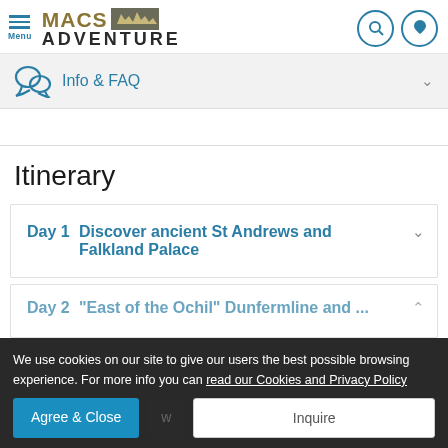Macs Adventure — Menu, search, favorites
Info & FAQ
Itinerary
Day 1  Discover ancient St Andrews and Falkland Palace
Day 2  "East of the Ochil" Dunfermline and ...
We use cookies on our site to give our users the best possible browsing experience. For more info you can read our Cookies and Privacy Policy
Agree & Close
Inquire